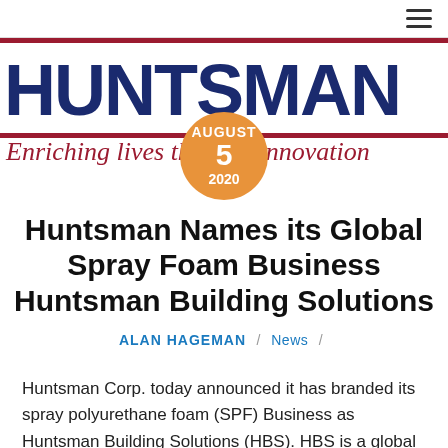[Figure (logo): Huntsman Corporation logo — bold navy blue HUNTSMAN text with dark red horizontal border lines above and below]
Enriching lives through innovation
AUGUST 5 2020
Huntsman Names its Global Spray Foam Business Huntsman Building Solutions
ALAN HAGEMAN / News /
Huntsman Corp. today announced it has branded its spray polyurethane foam (SPF) Business as Huntsman Building Solutions (HBS). HBS is a global platform within